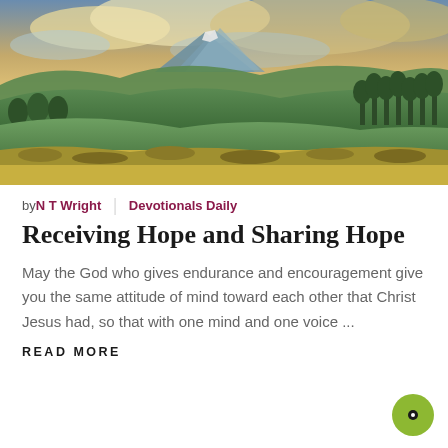[Figure (photo): Landscape photo of rolling green hills and mountains under a dramatic sunset sky with orange and blue clouds. Conifer trees line the hillsides with golden shrubby meadow in the foreground.]
by N T Wright | Devotionals Daily
Receiving Hope and Sharing Hope
May the God who gives endurance and encouragement give you the same attitude of mind toward each other that Christ Jesus had, so that with one mind and one voice ...
READ MORE